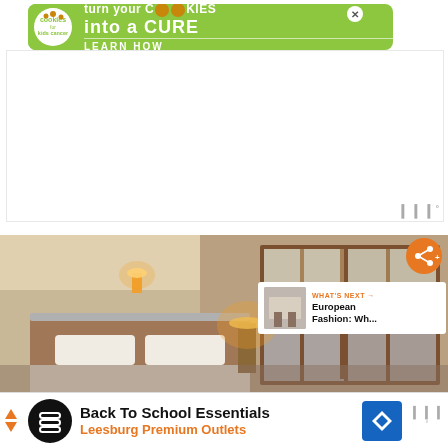[Figure (infographic): Green advertisement banner for Cookies for Kids Cancer: 'turn your COOKIES into a CURE LEARN HOW' with cookie logo on left and X close button on right]
[Figure (photo): Hotel bedroom interior with warm lighting, wooden headboard, white pillows/bedding, lamp on nightstand, large wooden-framed window with light coming through]
[Figure (infographic): Orange share button (circle with share icon) overlaid on hotel photo top right]
[Figure (infographic): What's Next panel: orange label 'WHAT'S NEXT -->' with thumbnail and text 'European Fashion: Wh...']
[Figure (infographic): Bottom advertisement banner: Back To School Essentials / Leesburg Premium Outlets, with black circular logo, blue navigation diamond icon, and WeatherBug logo]